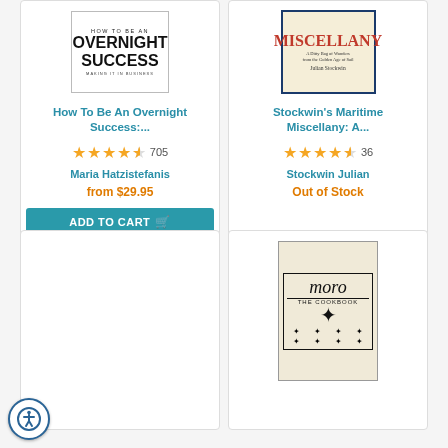[Figure (illustration): Book cover: How To Be An Overnight Success - Making It In Business]
How To Be An Overnight Success:...
[Figure (illustration): Star rating: 4.5 stars, 705 reviews]
Maria Hatzistefanis
from $29.95
ADD TO CART
[Figure (illustration): Book cover: Stockwin's Maritime Miscellany: A Ditty Bag of Wonders from the Golden Age of Sail by Julian Stockwin]
Stockwin's Maritime Miscellany: A...
[Figure (illustration): Star rating: 4.5 stars, 36 reviews]
Stockwin Julian
Out of Stock
[Figure (illustration): Empty book card placeholder]
[Figure (illustration): Book cover: Moro The Cookbook]